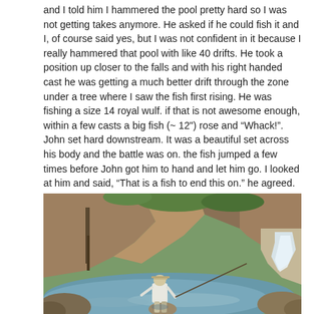and I told him I hammered the pool pretty hard so I was not getting takes anymore.  He asked if he could fish it and I, of course said yes, but I was not confident in it because I really hammered that pool with like 40 drifts.  He took a position up closer to the falls and with his right handed cast he was getting a much better drift through the zone under a tree where I saw the fish first rising.  He was fishing a size 14 royal wulf.  if that is not awesome enough, within a few casts a big fish (~ 12") rose and “Whack!”.  John set hard downstream.  It was a beautiful set across his body and the battle was on.  the fish jumped a few times before John got him to hand and let him go.  I looked at him and said, “That is a fish to end this on.”  he agreed.
[Figure (photo): A person in a white shirt and hat stands fly fishing in a rocky mountain stream with a small waterfall in the background, surrounded by large boulders and green vegetation.]